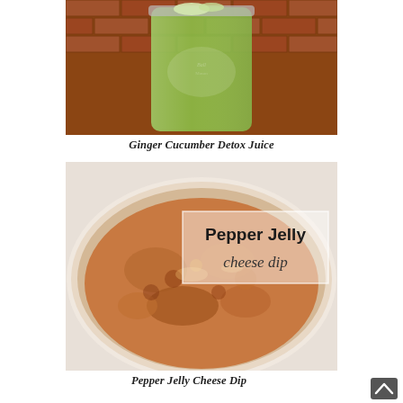[Figure (photo): A mason jar filled with green ginger cucumber detox juice, ice on top, brick wall background]
Ginger Cucumber Detox Juice
[Figure (photo): A glass baking dish with Pepper Jelly Cheese Dip, a bubbly orange-brown cheesy dip with text overlay reading 'Pepper Jelly cheese dip']
Pepper Jelly Cheese Dip